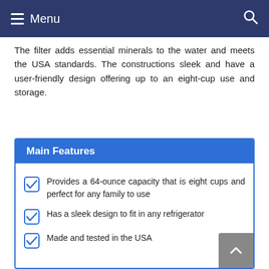Menu
The filter adds essential minerals to the water and meets the USA standards. The constructions sleek and have a user-friendly design offering up to an eight-cup use and storage.
Main Features
Provides a 64-ounce capacity that is eight cups and perfect for any family to use
Has a sleek design to fit in any refrigerator
Made and tested in the USA